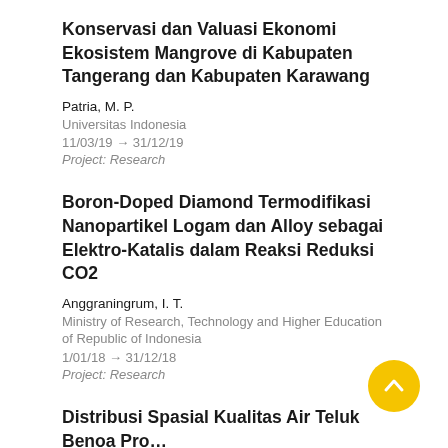Konservasi dan Valuasi Ekonomi Ekosistem Mangrove di Kabupaten Tangerang dan Kabupaten Karawang
Patria, M. P.
Universitas Indonesia
11/03/19 → 31/12/19
Project: Research
Boron-Doped Diamond Termodifikasi Nanopartikel Logam dan Alloy sebagai Elektro-Katalis dalam Reaksi Reduksi CO2
Anggraningrum, I. T.
Ministry of Research, Technology and Higher Education of Republic of Indonesia
1/01/18 → 31/12/18
Project: Research
Distribusi Spasial Kualitas Air Teluk Benoa Pro... Bali